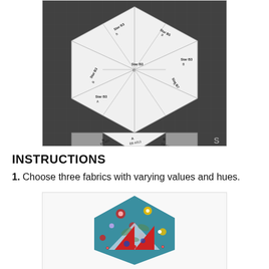[Figure (photo): Hexagonal quilt template pieces laid out on a dark cutting mat, with white paper pieces labeled Star B3, Star B7, Star B3 (multiple), Star B3 A, Star B3 B, Star B3 C, arranged in a hexagonal star pattern]
INSTRUCTIONS
1. Choose three fabrics with varying values and hues.
[Figure (photo): A partially assembled hexagonal quilt block showing teal floral fabric and light blue fabric with red triangles pinned together]